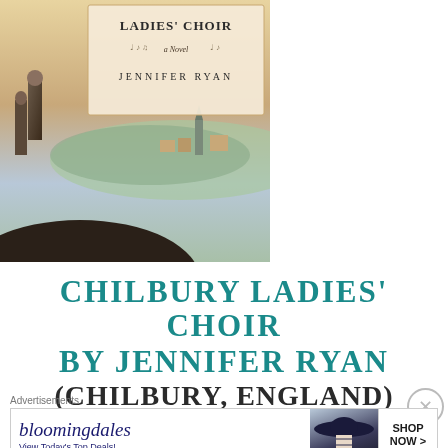[Figure (illustration): Book cover for 'Chilbury Ladies' Choir' by Jennifer Ryan. Shows women figures standing on a hillside overlooking an English village landscape. The cover has a painterly style with warm and cool tones. Title and author name displayed on a parchment-colored background area.]
CHILBURY LADIES' CHOIR BY JENNIFER RYAN (CHILBURY, ENGLAND)
[Figure (infographic): Bloomingdale's advertisement banner. Shows Bloomingdale's logo with text 'View Today's Top Deals!' and a woman wearing a large navy blue hat. Call-to-action button reads 'SHOP NOW >'.]
Advertisements